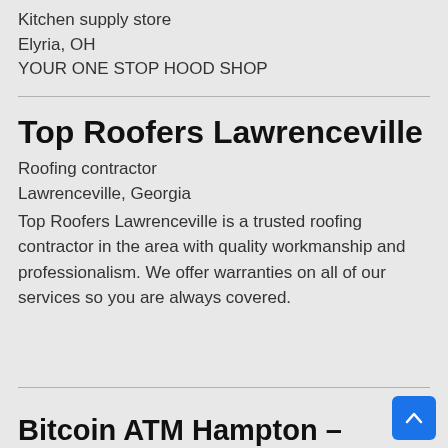Kitchen supply store
Elyria, OH
YOUR ONE STOP HOOD SHOP
Top Roofers Lawrenceville
Roofing contractor
Lawrenceville, Georgia
Top Roofers Lawrenceville is a trusted roofing contractor in the area with quality workmanship and professionalism. We offer warranties on all of our services so you are always covered.
Bitcoin ATM Hampton –